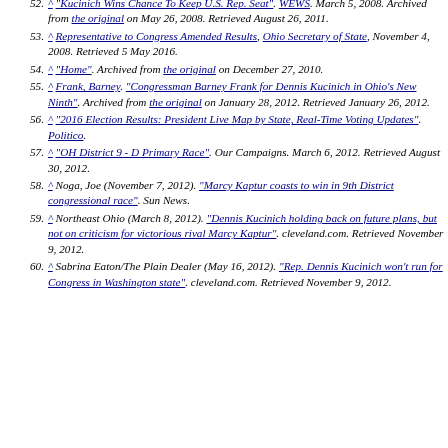52. ^ "Kucinich Wins Chance To Keep U.S. Rep. Seat". WEWS. March 5, 2008. Archived from the original on May 26, 2008. Retrieved August 26, 2011.
53. ^ Representative to Congress Amended Results, Ohio Secretary of State, November 4, 2008. Retrieved 5 May 2016.
54. ^ "Home". Archived from the original on December 27, 2010.
55. ^ Frank, Barney. "Congressman Barney Frank for Dennis Kucinich in Ohio's New Ninth". Archived from the original on January 28, 2012. Retrieved January 26, 2012.
56. ^ "2016 Election Results: President Live Map by State, Real-Time Voting Updates". Politico.
57. ^ "OH District 9 - D Primary Race". Our Campaigns. March 6, 2012. Retrieved August 30, 2012.
58. ^ Noga, Joe (November 7, 2012). "Marcy Kaptur coasts to win in 9th District congressional race". Sun News.
59. ^ Northeast Ohio (March 8, 2012). "Dennis Kucinich holding back on future plans, but not on criticism for victorious rival Marcy Kaptur". cleveland.com. Retrieved November 9, 2012.
60. ^ Sabrina Eaton/The Plain Dealer (May 16, 2012). "Rep. Dennis Kucinich won't run for Congress in Washington state". cleveland.com. Retrieved November 9, 2012.